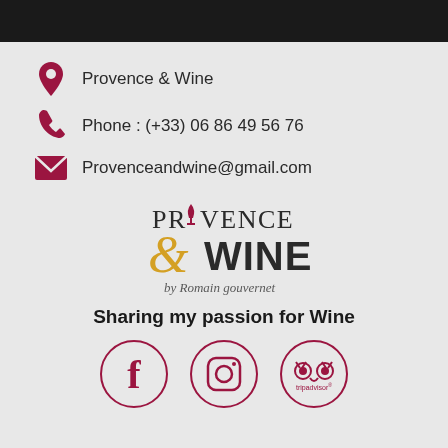Provence & Wine
Phone : (+33) 06 86 49 56 76
Provenceandwine@gmail.com
[Figure (logo): Provence & Wine logo with wine glass, ampersand in gold, and text 'by Romain gouvernet']
Sharing my passion for Wine
[Figure (illustration): Three social media icons in circles: Facebook, Instagram, TripAdvisor]